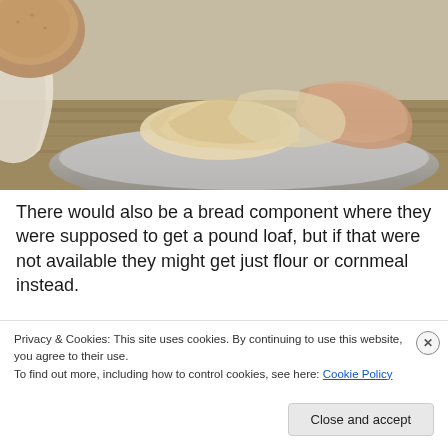[Figure (photo): A plate or tray with pieces of flatbread and meat on a wooden surface, with cloth visible on the left side.]
There would also be a bread component where they were supposed to get a pound loaf, but if that were not available they might get just flour or cornmeal instead.
[Figure (photo): Partial view of a room interior with wooden furniture, a metal bowl, and blue-painted wall in background.]
Privacy & Cookies: This site uses cookies. By continuing to use this website, you agree to their use.
To find out more, including how to control cookies, see here: Cookie Policy
Close and accept